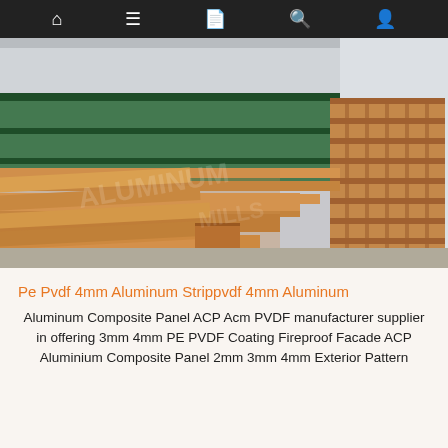Navigation bar with home, menu, document, search, and user icons
[Figure (photo): Warehouse interior with stacked lumber planks and wooden pallets on a concrete floor, with green industrial shelving in the background]
Pe Pvdf 4mm Aluminum Strippvdf 4mm Aluminum
Aluminum Composite Panel ACP Acm PVDF manufacturer supplier in offering 3mm 4mm PE PVDF Coating Fireproof Facade ACP Aluminium Composite Panel 2mm 3mm 4mm Exterior Pattern